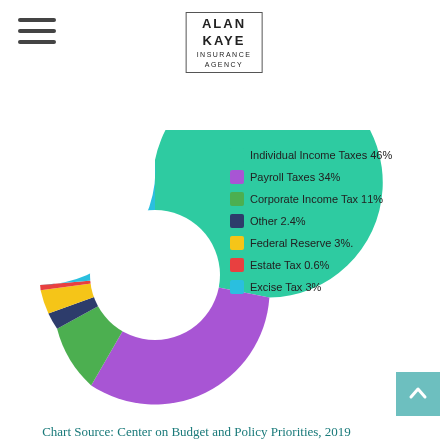[Figure (logo): Alan Kaye Insurance Agency logo with border]
[Figure (donut-chart): Federal Tax Revenue by Source]
Chart Source: Center on Budget and Policy Priorities, 2019